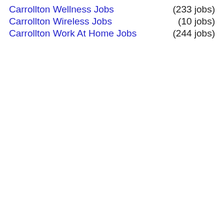Carrollton Wellness Jobs (233 jobs)
Carrollton Wireless Jobs (10 jobs)
Carrollton Work At Home Jobs (244 jobs)